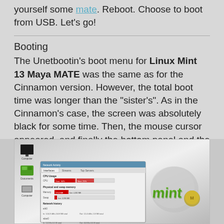yourself some mate. Reboot. Choose to boot from USB. Let's go!
Booting
The Unetbootin's boot menu for Linux Mint 13 Maya MATE was the same as for the Cinnamon version. However, the total boot time was longer than the "sister's". As in the Cinnamon's case, the screen was absolutely black for some time. Then, the mouse cursor appeared, and finally the bottom panel and the rest of the desktop came in.
There were no additional questions during the system boot.
[Figure (screenshot): Screenshot of Linux Mint 13 Maya MATE desktop showing desktop icons on the left side and the Linux Mint logo on the right, with a system information dialog window open in the center showing CPU and memory usage bars.]